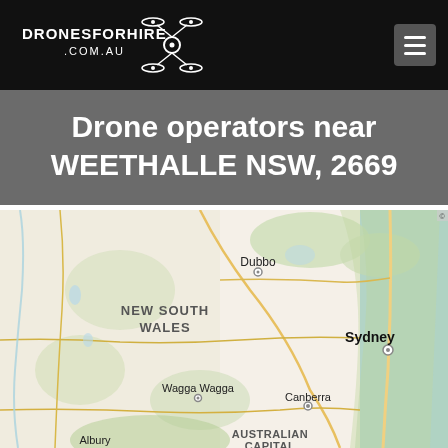DRONESFORHIRE.COM.AU
Drone operators near WEETHALLE NSW, 2669
[Figure (map): Map of New South Wales, Australia showing locations including NEW SOUTH WALES label, Dubbo, Sydney, Wagga Wagga, Canberra, Albury, and AUSTRALIAN CAPITAL label. The map uses Google Maps styling with roads, terrain shading, and regional labels.]